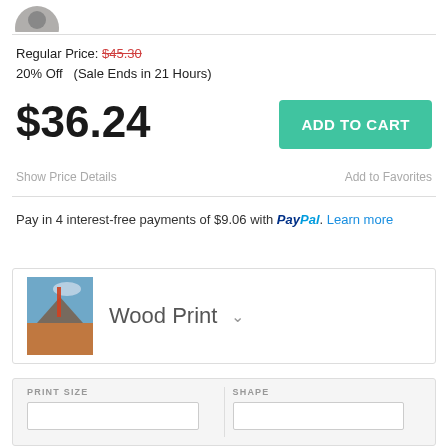[Figure (photo): Partial avatar/profile photo circle at top left]
Regular Price: $45.30
20% Off   (Sale Ends in 21 Hours)
$36.24
ADD TO CART
Show Price Details
Add to Favorites
Pay in 4 interest-free payments of $9.06 with PayPal. Learn more
Wood Print
PRINT SIZE
SHAPE